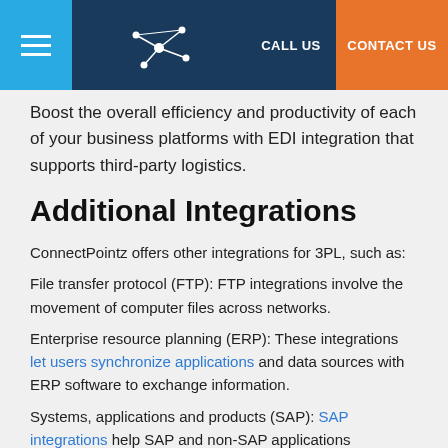CALL US | CONTACT US
Boost the overall efficiency and productivity of each of your business platforms with EDI integration that supports third-party logistics.
Additional Integrations
ConnectPointz offers other integrations for 3PL, such as:
File transfer protocol (FTP): FTP integrations involve the movement of computer files across networks.
Enterprise resource planning (ERP): These integrations let users synchronize applications and data sources with ERP software to exchange information.
Systems, applications and products (SAP): SAP integrations help SAP and non-SAP applications communicate with each other.
Application programming interface (API): With API...